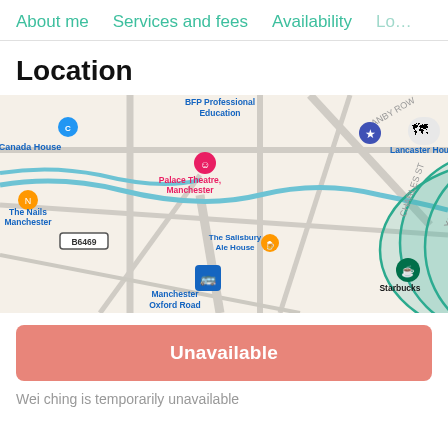About me   Services and fees   Availability   Lo…
Location
[Figure (map): Google Maps view of Manchester city centre area showing landmarks including Canada House, BFP Professional Education, Palace Theatre Manchester, Lancaster House, Joshua Brooks, The Nails Manchester, The Salisbury Ale House, Manchester Oxford Road, Starbucks, Canvas, Factory 251, ibis, Retro. A teal circle overlay highlights the central area around York Street.]
Unavailable
Wei ching is temporarily unavailable